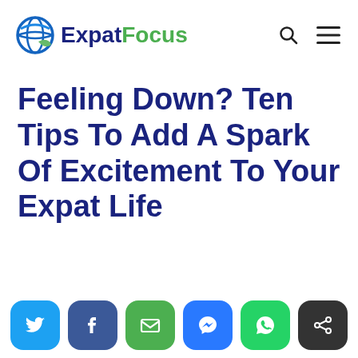ExpatFocus
Feeling Down? Ten Tips To Add A Spark Of Excitement To Your Expat Life
[Figure (logo): ExpatFocus logo with globe icon and text ExpatFocus, with search and hamburger menu icons on the right]